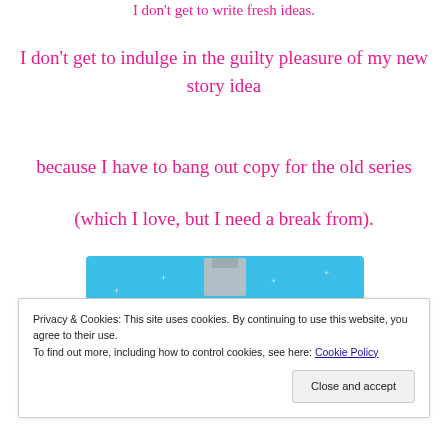I don't get to write fresh ideas.
I don't get to indulge in the guilty pleasure of my new story idea
because I have to bang out copy for the old series
(which I love, but I need a break from).
[Figure (illustration): Day One journaling app advertisement banner on a sky-blue background with sparkle decorations. Shows a gray t-shirt icon at top, 'DAY ONE' in spaced letters, and tagline 'The only journaling app you'll ever need.']
Privacy & Cookies: This site uses cookies. By continuing to use this website, you agree to their use. To find out more, including how to control cookies, see here: Cookie Policy